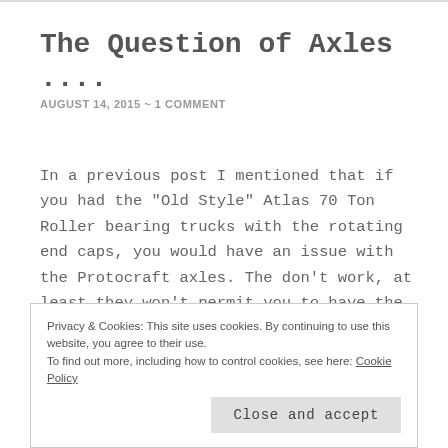The Question of Axles ….
AUGUST 14, 2015 ~ 1 COMMENT
In a previous post I mentioned that if you had the "Old Style" Atlas 70 Ton Roller bearing trucks with the rotating end caps, you would have an issue with the Protocraft axles. The don't work, at least they won't permit you to have the rotating end caps. The 36" roller bearing axles will, but all of the wheelsets
Privacy & Cookies: This site uses cookies. By continuing to use this website, you agree to their use.
To find out more, including how to control cookies, see here: Cookie Policy
Close and accept